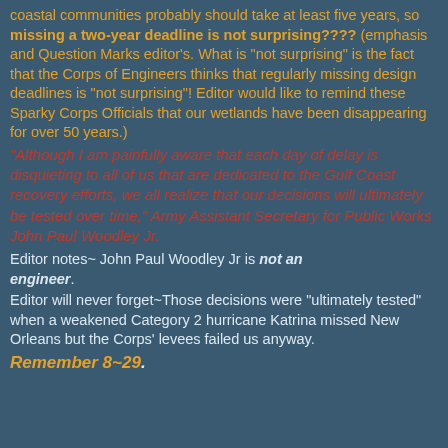coastal communities probably should take at least five years, so missing a two-year deadline is not surprising???? (emphasis and Question Marks editor's. What is "not surprising" is the fact that the Corps of Engineers thinks that regularly missing design deadlines is "not surprising"! Editor would like to remind these Sparky Corps Officials that our wetlands have been disappearing for over 50 years.)
"Although I am painfully aware that each day of delay is disquieting to all of us that are dedicated to the Gulf Coast recovery efforts, we all realize that our decisions will ultimately be tested over time," Army Assistant Secretary for Public Works John Paul Woodley Jr.
Editor notes~ John Paul Woodley Jr is not an engineer.
Editor will never forget~Those decisions were "ultimately tested" when a weakened Category 2 hurricane Katrina missed New Orleans but the Corps' levees failed us anyway.
Remember 8~29.